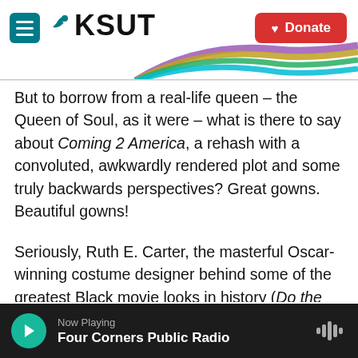KSUT - Donate
But to borrow from a real-life queen – the Queen of Soul, as it were – what is there to say about Coming 2 America, a rehash with a convoluted, awkwardly rendered plot and some truly backwards perspectives? Great gowns. Beautiful gowns!
Seriously, Ruth E. Carter, the masterful Oscar-winning costume designer behind some of the greatest Black movie looks in history (Do the Right Thing, Malcolm X, What's Love Got to Do With It, B*A*P*S, and Black Panther, to name just a few)
Now Playing
Four Corners Public Radio